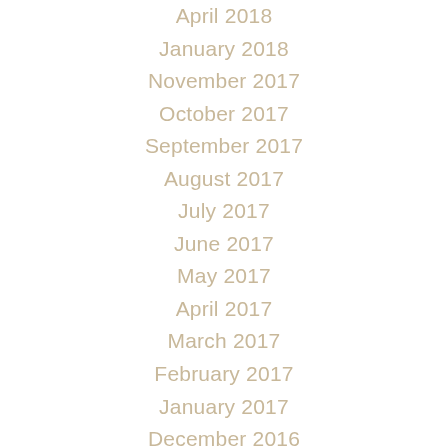April 2018
January 2018
November 2017
October 2017
September 2017
August 2017
July 2017
June 2017
May 2017
April 2017
March 2017
February 2017
January 2017
December 2016
November 2016
October 2016
September 2016
August 2016
July 2016